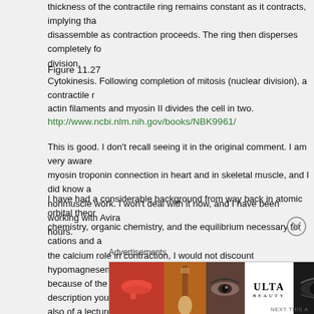thickness of the contractile ring remains constant as it contracts, implying that filaments disassemble as contraction proceeds. The ring then disperses completely following cell division.
Figure 11.27
Cytokinesis. Following completion of mitosis (nuclear division), a contractile ring of actin filaments and myosin II divides the cell in two.
http://www.ncbi.nlm.nih.gov/books/NBK9961/
This is good. I don't recall seeing it in the original comment. I am very aware of the myosin troponin connection in heart and in skeletal muscle, and I did know about the nonmuscle work. I won't deal with it now, and I have been working with Avira for over 24 hours.
I have had a considerable background from way back in atomic orbital theory, inorganic chemistry, organic chemistry, and the equilibrium necessary for cations and anions. Regarding the calcium role in contraction, I would not discount hypomagnesemia in having a role because of the intracellular-extracellular connection. The description you passed on reminds also of a lecture given a few years ago by the Nobel Laureate that year on the subject of cell division.
Advertisements
[Figure (photo): Advertisement banner for ULTA beauty products showing makeup images and SHOP NOW text]